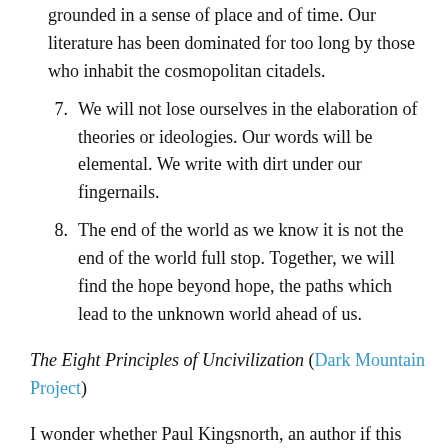grounded in a sense of place and of time. Our literature has been dominated for too long by those who inhabit the cosmopolitan citadels.
7. We will not lose ourselves in the elaboration of theories or ideologies. Our words will be elemental. We write with dirt under our fingernails.
8. The end of the world as we know it is not the end of the world full stop. Together, we will find the hope beyond hope, the paths which lead to the unknown world ahead of us.
The Eight Principles of Uncivilization (Dark Mountain Project)
I wonder whether Paul Kingsnorth, an author if this